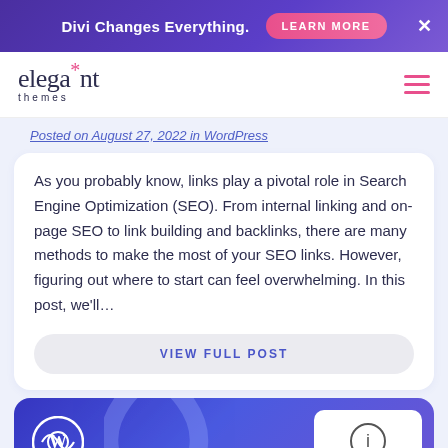Divi Changes Everything. LEARN MORE ×
[Figure (logo): Elegant Themes logo with asterisk and hamburger menu icon]
Posted on August 27, 2022 in WordPress
As you probably know, links play a pivotal role in Search Engine Optimization (SEO). From internal linking and on-page SEO to link building and backlinks, there are many methods to make the most of your SEO links. However, figuring out where to start can feel overwhelming. In this post, we'll...
VIEW FULL POST
[Figure (screenshot): Blue gradient card with WordPress logo and info icon box]